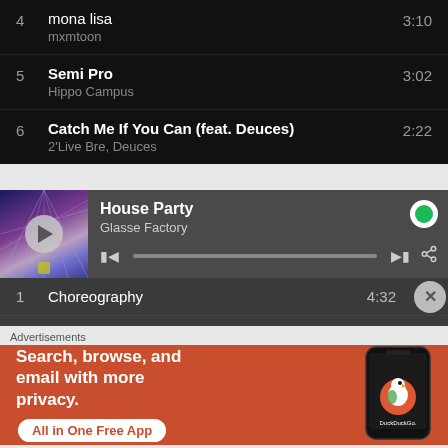4  mona lisa  3:10
mxmtoon
5  Semi Pro  3:02
Hippo Campus
6  Catch Me If You Can (feat. Deuces)  2:22
2'Live Bre, Deuces
[Figure (screenshot): Spotify-like music player showing 'House Party' by Glasse Factory, with play controls and progress bar, and album art on the left]
1  Choreography  4:32
Advertisements
[Figure (screenshot): DuckDuckGo advertisement: 'Search, browse, and email with more privacy. All in One Free App' with phone mockup showing DuckDuckGo logo]